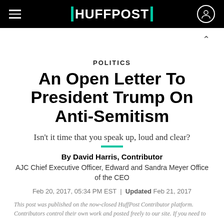HUFFPOST
POLITICS
An Open Letter To President Trump On Anti-Semitism
Isn't it time that you speak up, loud and clear?
By David Harris, Contributor
AJC Chief Executive Officer, Edward and Sandra Meyer Office of the CEO
Feb 20, 2017, 05:34 PM EST | Updated Feb 21, 2017
This post was published on the now-closed HuffPost Contributor platform. Contributors control their own work and posted freely to our site. If you need to